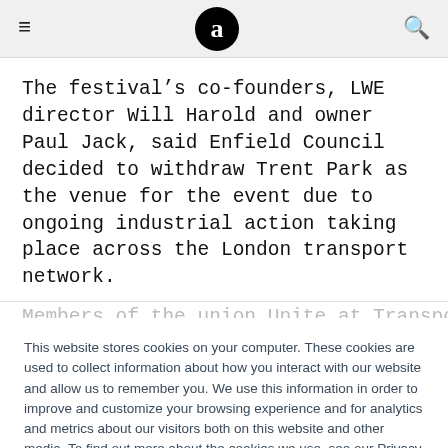≡  a  🔍
The festival's co-founders, LWE director Will Harold and owner Paul Jack, said Enfield Council decided to withdraw Trent Park as the venue for the event due to ongoing industrial action taking place across the London transport network.
Members of the union Unite at Transport for London...
This website stores cookies on your computer. These cookies are used to collect information about how you interact with our website and allow us to remember you. We use this information in order to improve and customize your browsing experience and for analytics and metrics about our visitors both on this website and other media. To find out more about the cookies we use, see our Privacy Policy
Accept